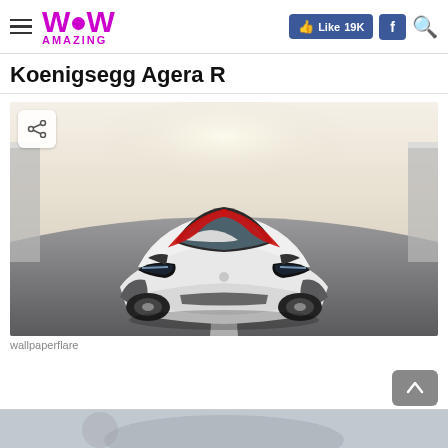WoW AMAZING — Like 19K | f | search
Koenigsegg Agera R
[Figure (photo): Front view of a white Koenigsegg Agera R supercar with red stripe accents on the hood, photographed on a racetrack from a straight-on angle.]
wallpaperflare